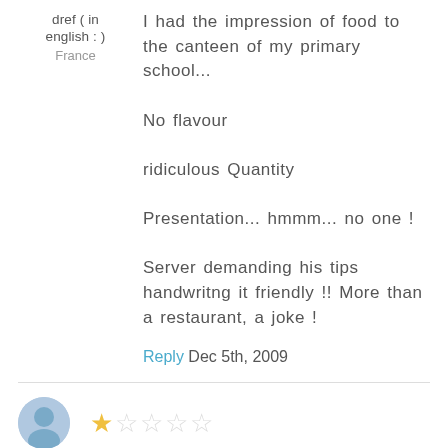dref ( in english : )
France
I had the impression of food to the canteen of my primary school...

No flavour

ridiculous Quantity

Presentation... hmmm... no one !

Server demanding his tips handwritng it friendly !! More than a restaurant, a joke !
Reply  Dec 5th, 2009